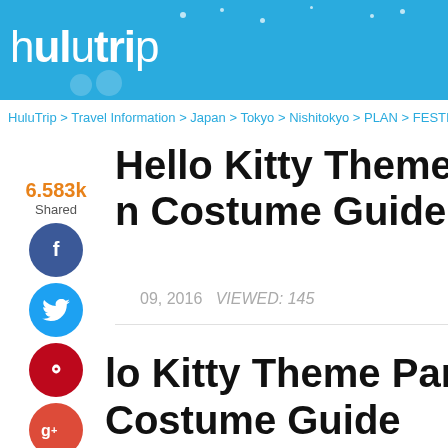hulutrip
HuluTrip > Travel Information > Japan > Tokyo > Nishitokyo > PLAN > FESTIV
Hello Kitty Theme Park Halloween Costume Guide
09, 2016   VIEWED: 145
lo Kitty Theme Park Halloween Costume Guide